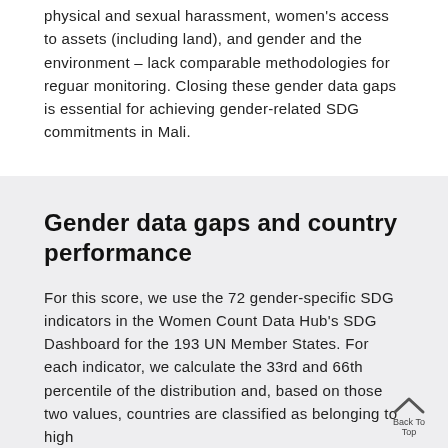physical and sexual harassment, women's access to assets (including land), and gender and the environment – lack comparable methodologies for reguar monitoring. Closing these gender data gaps is essential for achieving gender-related SDG commitments in Mali.
Gender data gaps and country performance
For this score, we use the 72 gender-specific SDG indicators in the Women Count Data Hub's SDG Dashboard for the 193 UN Member States. For each indicator, we calculate the 33rd and 66th percentile of the distribution and, based on those two values, countries are classified as belonging to high performance, medium performance, or low